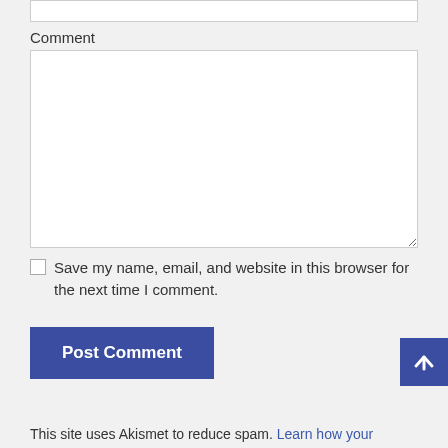Comment
Save my name, email, and website in this browser for the next time I comment.
Post Comment
This site uses Akismet to reduce spam. Learn how your